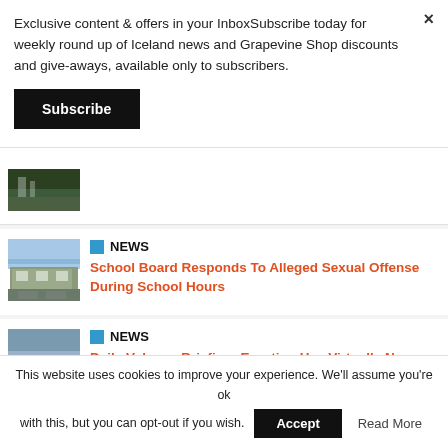Exclusive content & offers in your InboxSubscribe today for weekly round up of Iceland news and Grapevine Shop discounts and give-aways, available only to subscribers.
Subscribe
[Figure (photo): Partial waterfall/canyon landscape thumbnail]
NEWS
[Figure (photo): School building exterior thumbnail]
School Board Responds To Alleged Sexual Offense During School Hours
NEWS
[Figure (photo): Volcanic landscape/coastline thumbnail]
Daily Volcano Briefing: Eruption Has Virtually No Activity
This website uses cookies to improve your experience. We'll assume you're ok with this, but you can opt-out if you wish.
Accept
Read More